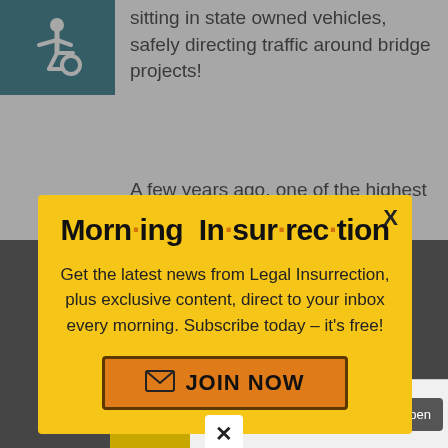[Figure (other): Wheelchair accessibility icon — white figure on teal/dark cyan background]
sitting in state owned vehicles, safely directing traffic around bridge projects!
A few years ago, one of the highest
[Figure (infographic): Modal popup overlay promoting Morning Insurrection newsletter. Yellow background with title 'Morn·ing In·sur·rec·tion', subtitle 'Get the latest news from Legal Insurrection, plus exclusive content, direct to your inbox every morning. Subscribe today – it's free!', and an orange JOIN NOW button. Close X in top right.]
definite due process violation.
Back to top
[Figure (infographic): Advertisement for Build Nuclear Now — Clean. Secure. Homegrown. with Open button]
January 18, 2021 at 7:55 pm